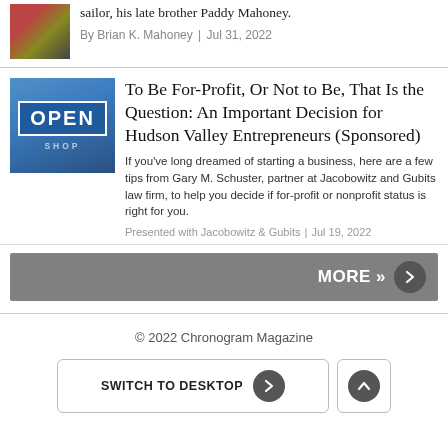sailor, his late brother Paddy Mahoney.
By Brian K. Mahoney | Jul 31, 2022
To Be For-Profit, Or Not to Be, That Is the Question: An Important Decision for Hudson Valley Entrepreneurs (Sponsored)
If you've long dreamed of starting a business, here are a few tips from Gary M. Schuster, partner at Jacobowitz and Gubits law firm, to help you decide if for-profit or nonprofit status is right for you.
Presented with Jacobowitz & Gubits | Jul 19, 2022
MORE »
© 2022 Chronogram Magazine
SWITCH TO DESKTOP